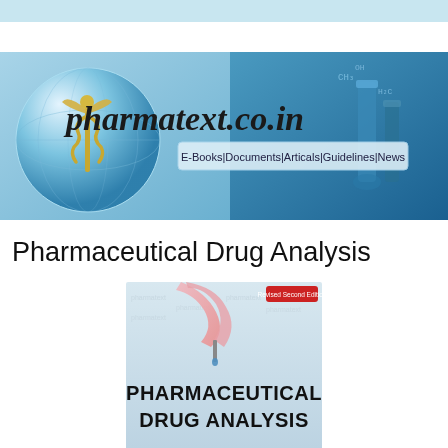[Figure (logo): pharmatext.co.in banner with caduceus medical symbol globe on left, laboratory glassware on right, website title pharmatext.co.in in italic script, subtitle E-Books|Documents|Articals|Guidelines|News]
Pharmaceutical Drug Analysis
[Figure (photo): Book cover of Pharmaceutical Drug Analysis Revised Second Edition showing a hand holding a dropper over lab equipment with bold text PHARMACEUTICAL DRUG ANALYSIS on the cover]